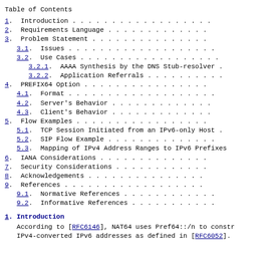Table of Contents
1.  Introduction . . . . . . . . . . . . . . . . . .
2.  Requirements Language . . . . . . . . . . . . .
3.  Problem Statement . . . . . . . . . . . . . . .
3.1.  Issues . . . . . . . . . . . . . . . . . . .
3.2.  Use Cases . . . . . . . . . . . . . . . . . .
3.2.1.  AAAA Synthesis by the DNS Stub-resolver .
3.2.2.  Application Referrals . . . . . . . . . .
4.  PREFIX64 Option . . . . . . . . . . . . . . . .
4.1.  Format . . . . . . . . . . . . . . . . . . .
4.2.  Server's Behavior . . . . . . . . . . . . .
4.3.  Client's Behavior . . . . . . . . . . . . .
5.  Flow Examples . . . . . . . . . . . . . . . . .
5.1.  TCP Session Initiated from an IPv6-only Host .
5.2.  SIP Flow Example . . . . . . . . . . . . . .
5.3.  Mapping of IPv4 Address Ranges to IPv6 Prefixes
6.  IANA Considerations . . . . . . . . . . . . . .
7.  Security Considerations . . . . . . . . . . . .
8.  Acknowledgements . . . . . . . . . . . . . . .
9.  References . . . . . . . . . . . . . . . . . .
9.1.  Normative References . . . . . . . . . . . .
9.2.  Informative References . . . . . . . . . . .
1.  Introduction
According to [RFC6146], NAT64 uses Pref64::/n to constr IPv4-converted IPv6 addresses as defined in [RFC6052].